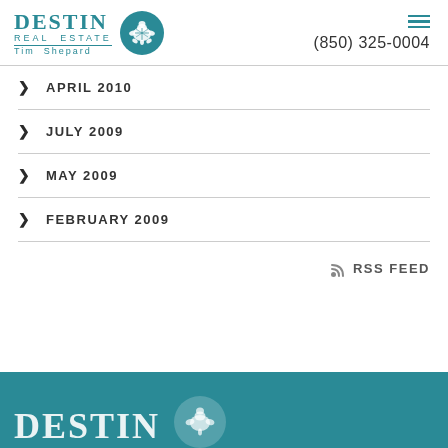[Figure (logo): Destin Real Estate Tim Shepard logo with teal turtle circle icon and hamburger menu, phone number (850) 325-0004]
APRIL 2010
JULY 2009
MAY 2009
FEBRUARY 2009
RSS FEED
[Figure (logo): Destin Real Estate footer logo on teal background]